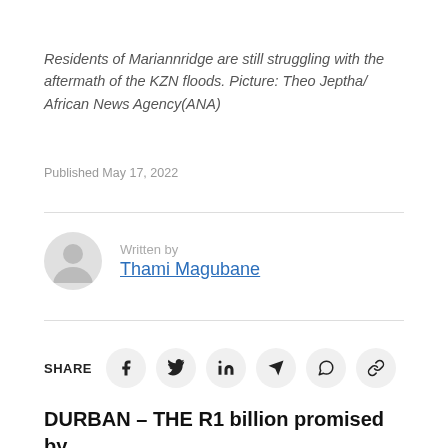Residents of Mariannridge are still struggling with the aftermath of the KZN floods. Picture: Theo Jeptha/ African News Agency(ANA)
Published May 17, 2022
Written by
Thami Magubane
SHARE
DURBAN – THE R1 billion promised by the authorities accentuated by a second f